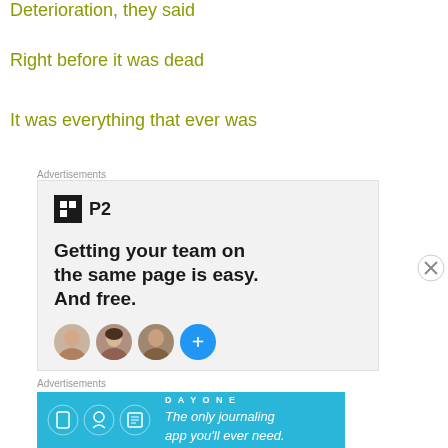Deterioration, they said
Right before it was dead
It was everything that ever was
Advertisements
[Figure (infographic): P2 advertisement: logo with dark square icon and 'P2' text, tagline 'Getting your team on the same page is easy. And free.' with circular face avatars and a blue plus button below]
Advertisements
[Figure (infographic): Day One journaling app advertisement on blue background with icons and text 'The only journaling app you'll ever need.']